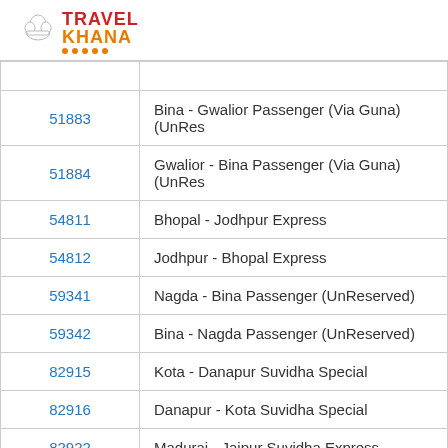[Figure (logo): Travel Khana logo with chef hat icon, red TRAVEL text, orange KHANA text, orange dots underline]
| Train Number | Train Name |
| --- | --- |
| 51883 | Bina - Gwalior Passenger (Via Guna) (UnRes |
| 51884 | Gwalior - Bina Passenger (Via Guna) (UnRes |
| 54811 | Bhopal - Jodhpur Express |
| 54812 | Jodhpur - Bhopal Express |
| 59341 | Nagda - Bina Passenger (UnReserved) |
| 59342 | Bina - Nagda Passenger (UnReserved) |
| 82915 | Kota - Danapur Suvidha Special |
| 82916 | Danapur - Kota Suvidha Special |
| 82922 | Madurai - Jaipur Suvidha Express |
| 82951 | Kota - Rewa One Way Special |